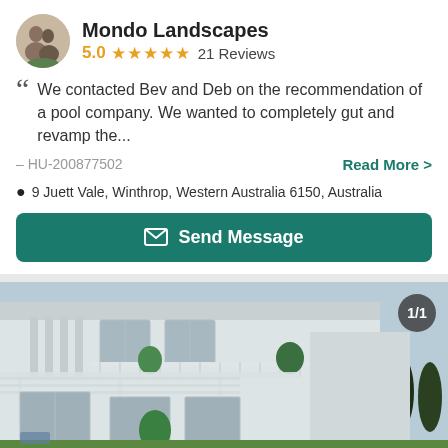Mondo Landscapes
5.0 ★★★★★ 21 Reviews
We contacted Bev and Deb on the recommendation of a pool company. We wanted to completely gut and revamp the...
– HU-200877502
Read More >
9 Juett Vale, Winthrop, Western Australia 6150, Australia
Send Message
[Figure (photo): Exterior photo of a white two-story house with a covered patio/pergola area, potted plants on balcony, and trees in background. Badge showing 1/1 in top-right corner.]